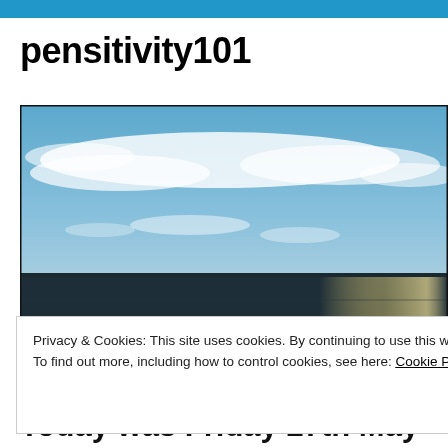pensitivity101
[Figure (photo): Seascape photograph showing a wide ocean view with a blue sky filled with wispy white clouds and calm dark water reflecting sunlight on the right side.]
Privacy & Cookies: This site uses cookies. By continuing to use this website, you agree to their use.
To find out more, including how to control cookies, see here: Cookie Policy
Close and accept
Today was Friday 27th May